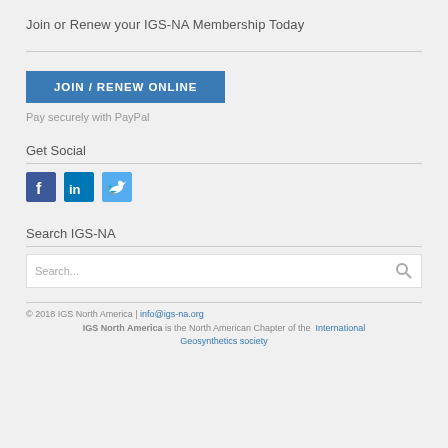Join or Renew your IGS-NA Membership Today
JOIN / RENEW ONLINE
Pay securely with PayPal
Get Social
[Figure (illustration): Social media icons: Facebook (blue), LinkedIn (blue), Twitter (light blue)]
Search IGS-NA
Search...
© 2018 IGS North America | info@igs-na.org
IGS North America is the North American Chapter of the International Geosynthetics society